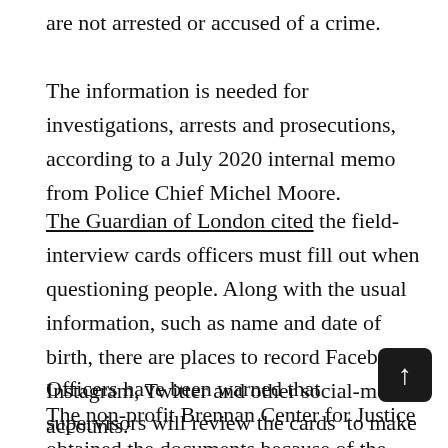are not arrested or accused of a crime.
The information is needed for investigations, arrests and prosecutions, according to a July 2020 internal memo from Police Chief Michel Moore.
The Guardian of London cited the field-interview cards officers must fill out when questioning people. Along with the usual information, such as name and date of birth, there are places to record Facebook, Instagram, Twitter and other social-media accounts.
Officers have been warned that supervisors will review the cards  to make sure they are complete and accurate.
The non-profit Brennan Center for Justice obtained the documents because of the civil-liberties concerns they